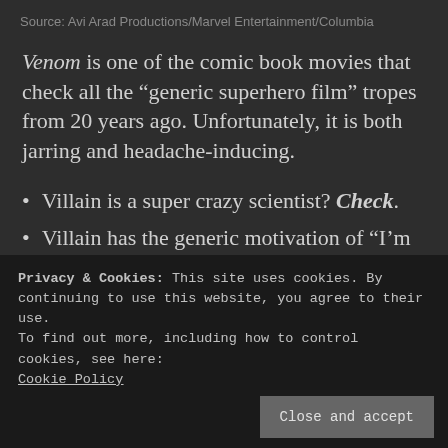Source: Avi Arad Productions/Marvel Entertainment/Columbia
Venom is one of the comic book movies that check all the “generic superhero film” tropes from 20 years ago. Unfortunately, it is both jarring and headache-inducing.
Villain is a super crazy scientist? Check.
Villain has the generic motivation of “I’m doing this to save the world”? Check.
Privacy & Cookies: This site uses cookies. By continuing to use this website, you agree to their use.
To find out more, including how to control cookies, see here: Cookie Policy
The third act is a CGI-infested sequence